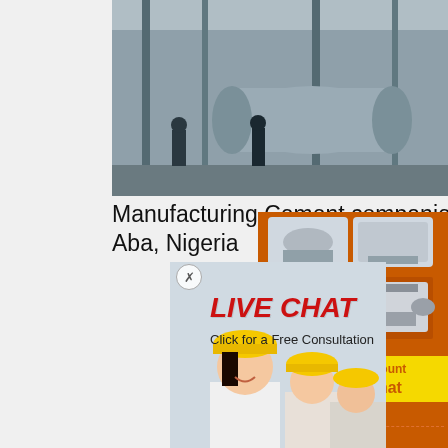[Figure (photo): Industrial cement manufacturing plant interior with large cylindrical mill equipment, steel structures, and industrial machinery in a large factory hall.]
Manufacturing Cement companies Aba, Nigeria
[Figure (photo): Live chat popup overlay showing a smiling woman in white shirt and colleagues in yellow hard hats, with LIVE CHAT text and 'Click for a Free Consultation' message.]
Chat now
Chat later
Read More
[Figure (photo): Outdoor industrial equipment — a large crusher or screening machine in a yard with blue sky background.]
[Figure (photo): Right sidebar ad showing heavy mining/crushing equipment machines on orange background with discount and chat offers.]
Enjoy 3% discount
Click to Chat
Enquiry
limingjlmofen@sina.com